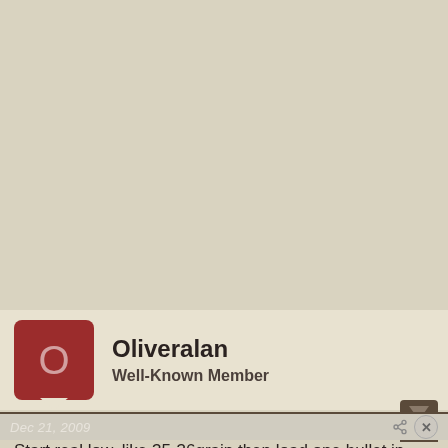[Figure (other): Large blank beige/tan background area filling upper portion of the page]
Oliveralan
Well-Known Member
Dec 21, 2009
Start real low, like 35-36grain then load one bullet in each